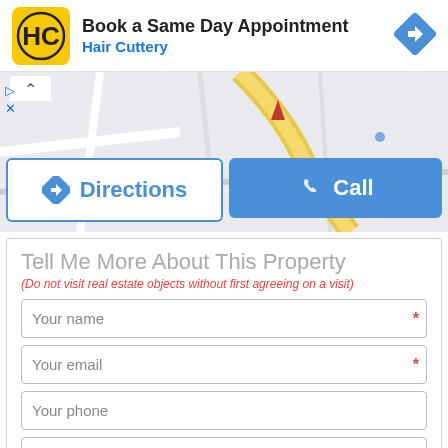[Figure (screenshot): Hair Cuttery advertisement banner with logo, 'Book a Same Day Appointment' heading, directions diamond icon on right]
Book a Same Day Appointment
Hair Cuttery
[Figure (map): Google Maps screenshot showing road map with a red location pin marker, a yellow road, and Directions and Call buttons overlaid]
Tell Me More About This Property
(Do not visit real estate objects without first agreeing on a visit)
Your name
Your email
Your phone
I would like more information about 1689 Rue Du